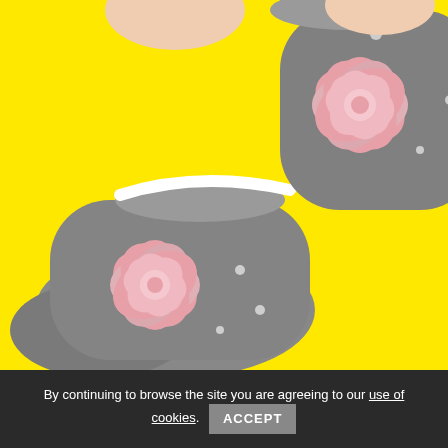[Figure (photo): Two gray baby shoes/booties with large pink fabric flower rosette decorations on the toe area, displayed on a bright yellow background. The left shoe is shown in full view and the right shoe is partially visible. The shoes appear to be soft non-slip baby slipper socks with white polka dot accents.]
By continuing to browse the site you are agreeing to our use of cookies. ACCEPT